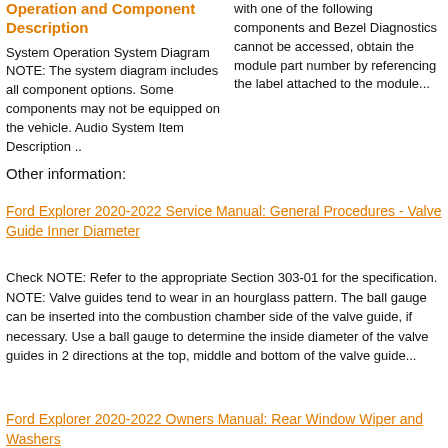Operation and Component Description
System Operation System Diagram NOTE: The system diagram includes all component options. Some components may not be equipped on the vehicle. Audio System Item Description ..
with one of the following components and Bezel Diagnostics cannot be accessed, obtain the module part number by referencing the label attached to the module...
Other information:
Ford Explorer 2020-2022 Service Manual: General Procedures - Valve Guide Inner Diameter
Check NOTE: Refer to the appropriate Section 303-01 for the specification. NOTE: Valve guides tend to wear in an hourglass pattern. The ball gauge can be inserted into the combustion chamber side of the valve guide, if necessary. Use a ball gauge to determine the inside diameter of the valve guides in 2 directions at the top, middle and bottom of the valve guide...
Ford Explorer 2020-2022 Owners Manual: Rear Window Wiper and Washers